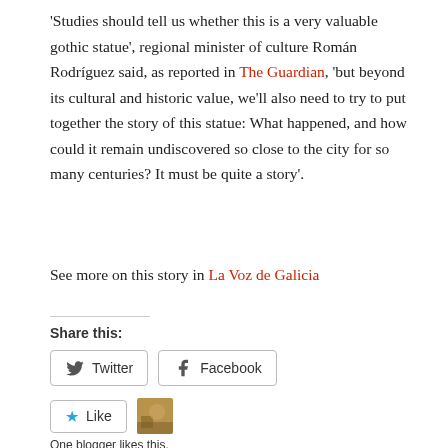'Studies should tell us whether this is a very valuable gothic statue', regional minister of culture Román Rodríguez said, as reported in The Guardian, 'but beyond its cultural and historic value, we'll also need to try to put together the story of this statue: What happened, and how could it remain undiscovered so close to the city for so many centuries? It must be quite a story'.
See more on this story in La Voz de Galicia
Share this:
[Figure (other): Twitter and Facebook share buttons]
[Figure (other): Like button with star icon and blogger avatar thumbnail]
One blogger likes this.